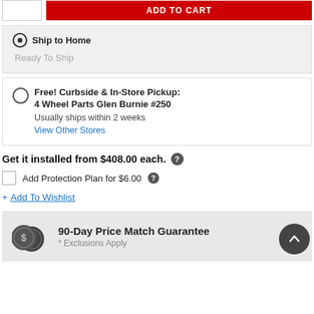[Figure (screenshot): Quantity input box and red ADD TO CART button]
Ship to Home
Ready To Ship
Free! Curbside & In-Store Pickup:
4 Wheel Parts Glen Burnie #250
Usually ships within 2 weeks
View Other Stores
Get it installed from $408.00 each.
Add Protection Plan for $6.00
+ Add To Wishlist
90-Day Price Match Guarantee
* Exclusions Apply